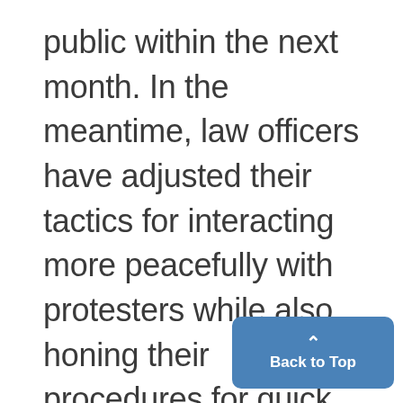public within the next month. In the meantime, law officers have adjusted their tactics for interacting more peacefully with protesters while also honing their procedures for quick, widespread arrests. They plan to have a large contingent of officers at the ready, but have been meeting with clergy, community leaders and students in hopes of building relationships that could ease tensions on the streets.